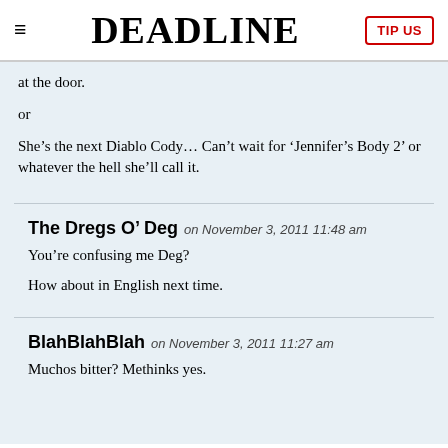DEADLINE
at the door.
or
She’s the next Diablo Cody… Can’t wait for ‘Jennifer’s Body 2’ or whatever the hell she’ll call it.
The Dregs O’ Deg on November 3, 2011 11:48 am
You’re confusing me Deg?
How about in English next time.
BlahBlahBlah on November 3, 2011 11:27 am
Muchos bitter? Methinks yes.